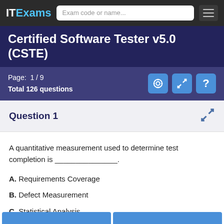IT Exams | Exam code or name...
Certified Software Tester v5.0 (CSTE)
Page: 1 / 9
Total 126 questions
Question 1
A quantitative measurement used to determine test completion is _______________.
A. Requirements Coverage
B. Defect Measurement
C. Statistical Analysis